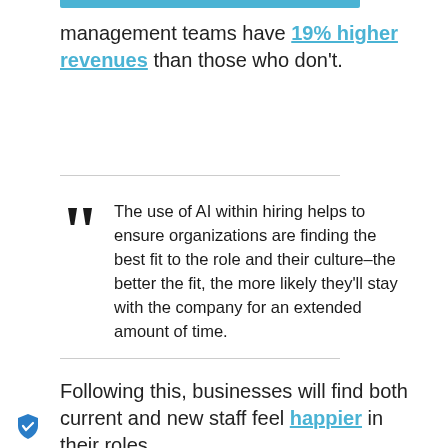management teams have 19% higher revenues than those who don't.
The use of AI within hiring helps to ensure organizations are finding the best fit to the role and their culture–the better the fit, the more likely they'll stay with the company for an extended amount of time.
Following this, businesses will find both current and new staff feel happier in their roles.